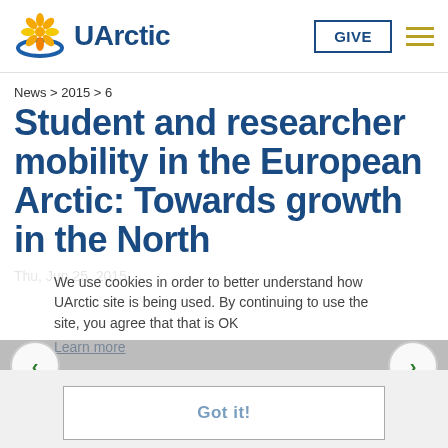[Figure (logo): UArctic logo with flower/sun icon and 'UArctic' text in dark blue]
News > 2015 > 6
Student and researcher mobility in the European Arctic: Towards growth in the North
Thu, Jun 25, 2015
We use cookies in order to better understand how UArctic site is being used. By continuing to use the site, you agree that that is OK
Learn more
Got it!